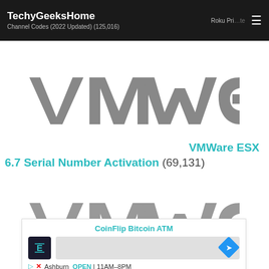TechyGeeksHome | Roku Private Channel Codes (2022 Updated) (125,016)
[Figure (logo): VMware logo in gray, large, centered]
VMWare ESX 6.7 Serial Number Activation (69,131)
[Figure (logo): VMware logo in gray, partially visible at bottom]
[Figure (other): CoinFlip Bitcoin ATM advertisement overlay showing logo icon, map area with blue direction diamond, Ashburn OPEN 11AM-8PM]